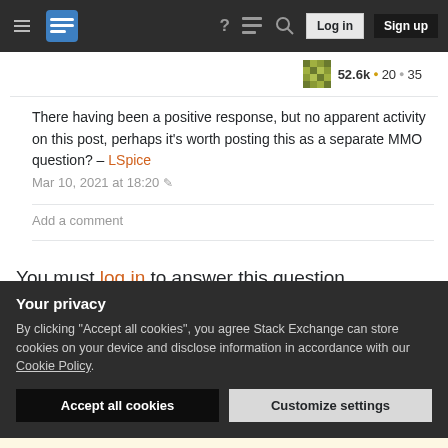Stack Exchange navigation bar with hamburger menu, logo, help, chat, search icons, Log in and Sign up buttons
52.6k • 20 • 35
There having been a positive response, but no apparent activity on this post, perhaps it's worth posting this as a separate MMO question? – LSpice Mar 10, 2021 at 18:20
Add a comment
You must log in to answer this question.
Not the answer you're looking for? Browse other questions tagged
Your privacy
By clicking "Accept all cookies", you agree Stack Exchange can store cookies on your device and disclose information in accordance with our Cookie Policy.
Accept all cookies
Customize settings